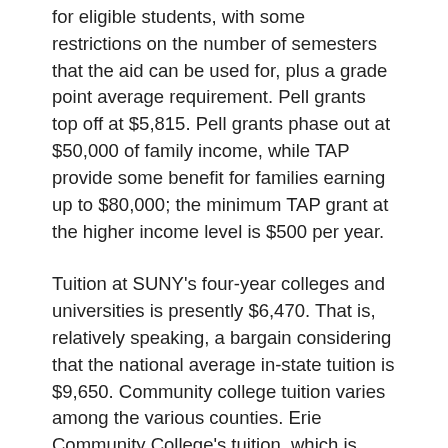for eligible students, with some restrictions on the number of semesters that the aid can be used for, plus a grade point average requirement. Pell grants top off at $5,815. Pell grants phase out at $50,000 of family income, while TAP provide some benefit for families earning up to $80,000; the minimum TAP grant at the higher income level is $500 per year.
Tuition at SUNY's four-year colleges and universities is presently $6,470. That is, relatively speaking, a bargain considering that the national average in-state tuition is $9,650. Community college tuition varies among the various counties. Erie Community College's tuition, which is among the highest in the state, is $4,733. Niagara County Community College charges $3,960.
A student who, on their own or from their family, has a